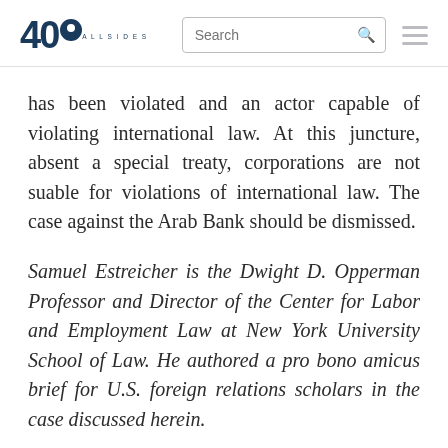40 [logo] Search [search bar] [hamburger menu]
has been violated and an actor capable of violating international law. At this juncture, absent a special treaty, corporations are not suable for violations of international law. The case against the Arab Bank should be dismissed.
Samuel Estreicher is the Dwight D. Opperman Professor and Director of the Center for Labor and Employment Law at New York University School of Law. He authored a pro bono amicus brief for U.S. foreign relations scholars in the case discussed herein.